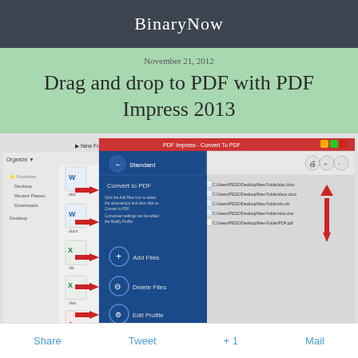BinaryNow
November 21, 2012
Drag and drop to PDF with PDF Impress 2013
[Figure (screenshot): Screenshot of PDF Impress - Convert To PDF application window showing drag and drop interface with file browser on left, conversion panel in center with Add Files, Delete Files, Edit Profile, Convert to PDF buttons, and file list on right. Red arrows indicate drag and drop workflow.]
Share   Tweet   + 1   Mail